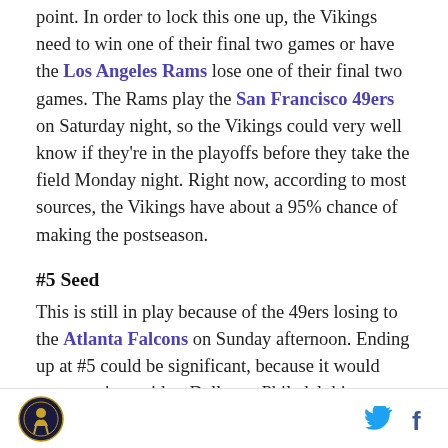point. In order to lock this one up, the Vikings need to win one of their final two games or have the Los Angeles Rams lose one of their final two games. The Rams play the San Francisco 49ers on Saturday night, so the Vikings could very well know if they're in the playoffs before they take the field Monday night. Right now, according to most sources, the Vikings have about a 95% chance of making the postseason.
#5 Seed
This is still in play because of the 49ers losing to the Atlanta Falcons on Sunday afternoon. Ending up at #5 could be significant, because it would mean a trip to either Dallas or Philadelphia as opposed to Green Bay,
[logo] [twitter] [facebook]